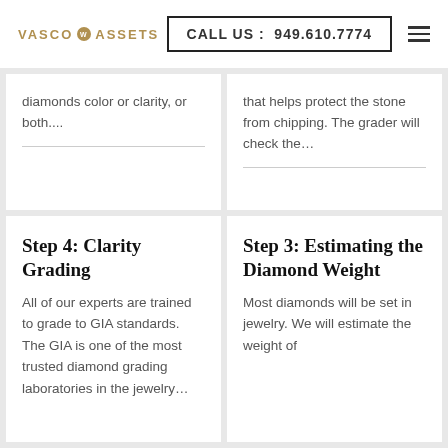VASCO ASSETS | CALL US : 949.610.7774
diamonds color or clarity, or both....
that helps protect the stone from chipping. The grader will check the...
Step 4: Clarity Grading
All of our experts are trained to grade to GIA standards. The GIA is one of the most trusted diamond grading laboratories in the jewelry...
Step 3: Estimating the Diamond Weight
Most diamonds will be set in jewelry. We will estimate the weight of